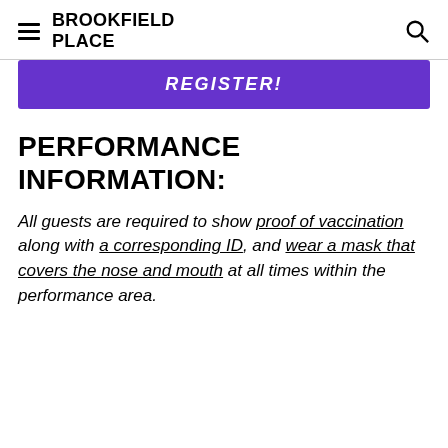BROOKFIELD PLACE
[Figure (other): Purple REGISTER! button]
PERFORMANCE INFORMATION:
All guests are required to show proof of vaccination along with a corresponding ID, and wear a mask that covers the nose and mouth at all times within the performance area.